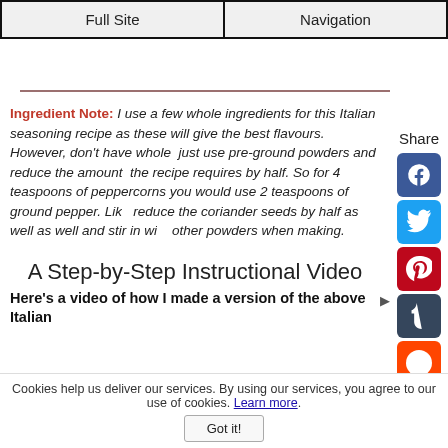Full Site | Navigation
Ingredient Note: I use a few whole ingredients for this Italian seasoning recipe as these will give the best flavours. However, don't have whole just use pre-ground powders and reduce the amount the recipe requires by half. So for 4 teaspoons of peppercorns you would use 2 teaspoons of ground pepper. Like reduce the coriander seeds by half as well as well and stir in with other powders when making.
A Step-by-Step Instructional Video
Here's a video of how I made a version of the above Italian
Cookies help us deliver our services. By using our services, you agree to our use of cookies. Learn more. Got it!